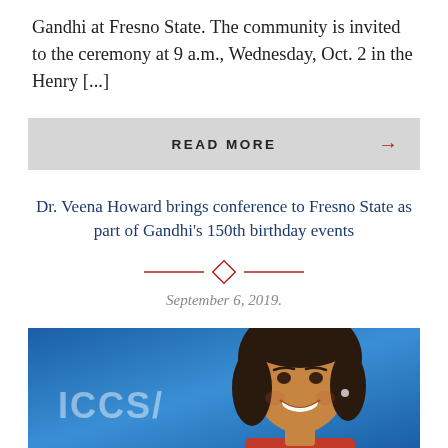Gandhi at Fresno State. The community is invited to the ceremony at 9 a.m., Wednesday, Oct. 2 in the Henry [...]
READ MORE →
Dr. Veena Howard brings conference to Fresno State as part of Gandhi's 150th birthday events
September 6, 2019.
[Figure (photo): Photo of Dr. Veena Howard smiling at a conference, with ICCS/ text visible in the background on a blue backdrop, wearing a red outfit and earpiece]